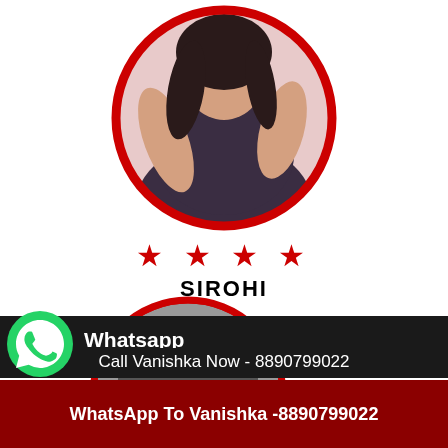[Figure (photo): Circular profile photo of a woman with dark hair wearing a dark top, framed with a thick red circular border]
★ ★ ★ ★
SIROHI
[Figure (photo): Second circular profile photo partially visible, dark background, framed with red circular border]
[Figure (logo): WhatsApp logo - green speech bubble with phone icon]
Whatsapp
click to chat
Call Vanishka Now - 8890799022
WhatsApp To Vanishka -8890799022